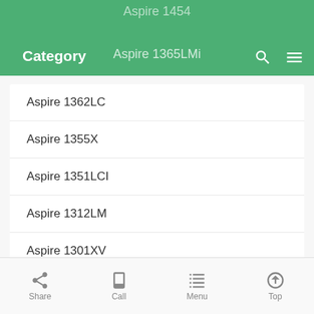Category
Aspire 1362LC
Aspire 1355X
Aspire 1351LCI
Aspire 1312LM
Aspire 1301XV
Ferrari 4005WLMi
Ferrari 3400WLMi
Aspire 1355
Aspire 3022LMI
Aspire 1451
Share  Call  Menu  Top